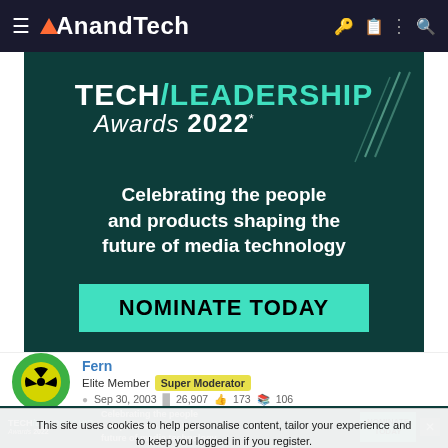AnandTech navigation bar
[Figure (illustration): Tech Leadership Awards 2022 advertisement banner — dark teal background with 'TECH/LEADERSHIP Awards 2022' heading in white and teal, subtitle 'Celebrating the people and products shaping the future of media technology', and a cyan 'NOMINATE TODAY' button]
Fern
Elite Member  Super Moderator
Sep 30, 2003   26,907   173   106
This site uses cookies to help personalise content, tailor your experience and to keep you logged in if you register. By continuing to use this site, you are consenting to our use of cookies.
[Figure (illustration): Bottom ad bar: Tech/Leadership Awards 2022 with text 'Celebrating the people and products shaping the future of media technology' and NOMINATE TODAY button]